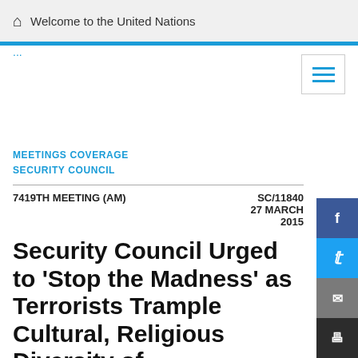Welcome to the United Nations
MEETINGS COVERAGE
SECURITY COUNCIL
7419TH MEETING (AM)    SC/11840
27 MARCH
2015
Security Council Urged to 'Stop the Madness' as Terrorists Trample Cultural, Religious Diversity of